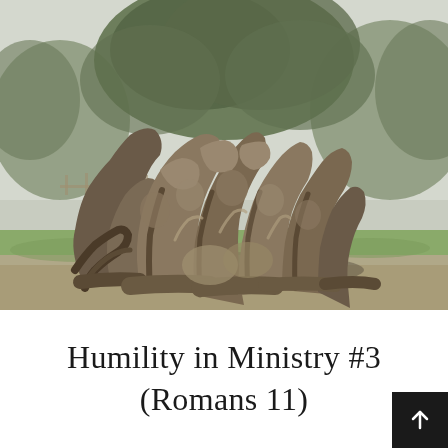[Figure (photo): Photograph of an ancient, massively gnarled olive tree with twisted, contorted roots and trunk. The tree is enormous with dark, deeply furrowed bark spiraling in complex patterns. Green foliage visible in the upper portion and background. Green grass and gravel ground around the base. Fence and trees visible in background.]
Humility in Ministry #3
(Romans 11)